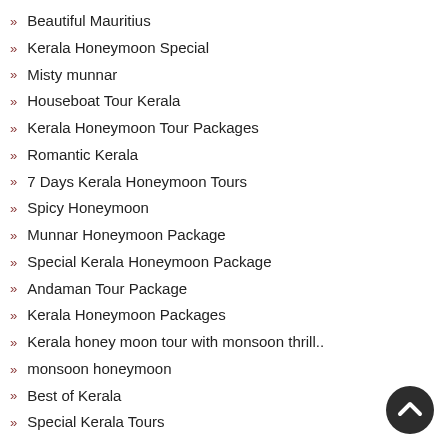Beautiful Mauritius
Kerala Honeymoon Special
Misty munnar
Houseboat Tour Kerala
Kerala Honeymoon Tour Packages
Romantic Kerala
7 Days Kerala Honeymoon Tours
Spicy Honeymoon
Munnar Honeymoon Package
Special Kerala Honeymoon Package
Andaman Tour Package
Kerala Honeymoon Packages
Kerala honey moon tour with monsoon thrill..
monsoon honeymoon
Best of Kerala
Special Kerala Tours